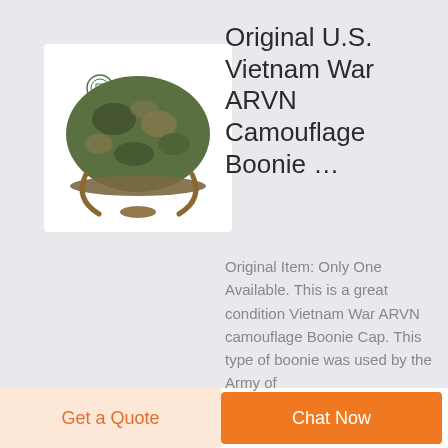[Figure (photo): Vietnam War ARVN camouflage boonie cap / helmet displayed on white background, with DEEKON brand logo in top left corner]
Original U.S. Vietnam War ARVN Camouflage Boonie ...
Original Item: Only One Available. This is a great condition Vietnam War ARVN camouflage Boonie Cap. This type of boonie was used by the Army of
Get a Quote
Chat Now